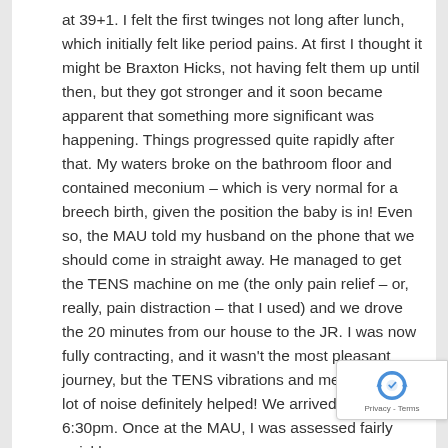at 39+1. I felt the first twinges not long after lunch, which initially felt like period pains. At first I thought it might be Braxton Hicks, not having felt them up until then, but they got stronger and it soon became apparent that something more significant was happening. Things progressed quite rapidly after that. My waters broke on the bathroom floor and contained meconium – which is very normal for a breech birth, given the position the baby is in! Even so, the MAU told my husband on the phone that we should come in straight away. He managed to get the TENS machine on me (the only pain relief – or, really, pain distraction – that I used) and we drove the 20 minutes from our house to the JR. I was now fully contracting, and it wasn't the most pleasant journey, but the TENS vibrations and me making a lot of noise definitely helped! We arrived at around 6:30pm. Once at the MAU, I was assessed fairly quickly
[Figure (logo): reCAPTCHA badge with Privacy - Terms text]